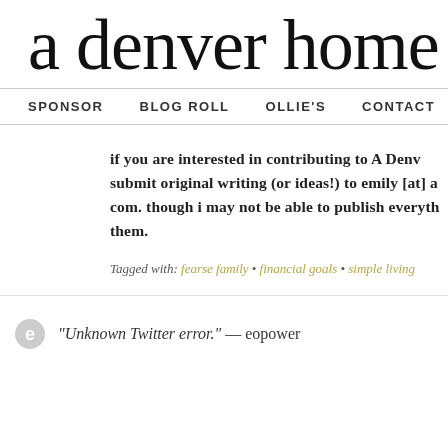a denver home c
SPONSOR   BLOG ROLL   OLLIE'S   CONTACT   HOME
if you are interested in contributing to A Denv… submit original writing (or ideas!) to emily [at] a… com. though i may not be able to publish everyth… them.
Tagged with: fearse family • financial goals • simple living
"Unknown Twitter error." — eopower